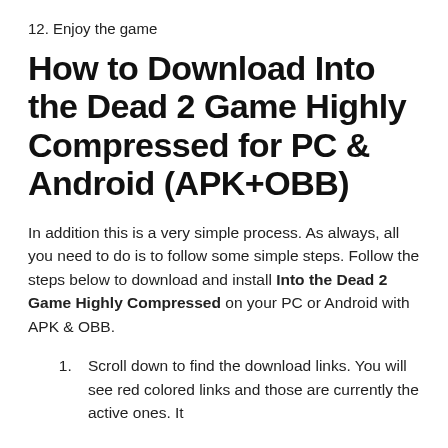12. Enjoy the game
How to Download Into the Dead 2 Game Highly Compressed for PC & Android (APK+OBB)
In addition this is a very simple process. As always, all you need to do is to follow some simple steps. Follow the steps below to download and install Into the Dead 2 Game Highly Compressed on your PC or Android with APK & OBB.
1. Scroll down to find the download links. You will see red colored links and those are currently the active ones. It